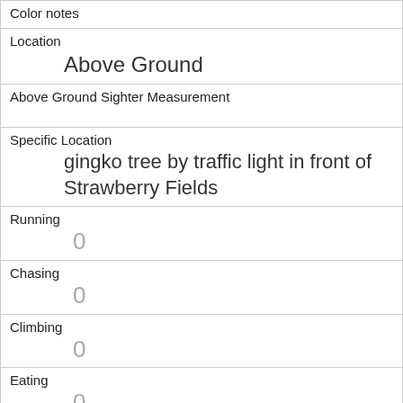| Color notes |  |
| Location | Above Ground |
| Above Ground Sighter Measurement |  |
| Specific Location | gingko tree by traffic light in front of Strawberry Fields |
| Running | 0 |
| Chasing | 0 |
| Climbing | 0 |
| Eating | 0 |
| Foraging | 1 |
| Other Activities |  |